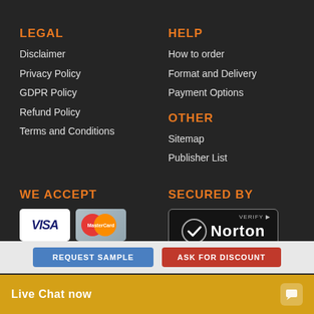LEGAL
Disclaimer
Privacy Policy
GDPR Policy
Refund Policy
Terms and Conditions
HELP
How to order
Format and Delivery
Payment Options
OTHER
Sitemap
Publisher List
WE ACCEPT
[Figure (logo): Visa and MasterCard payment logos]
SECURED BY
[Figure (logo): Norton Secured Verify badge]
REQUEST SAMPLE
ASK FOR DISCOUNT
Live Chat now